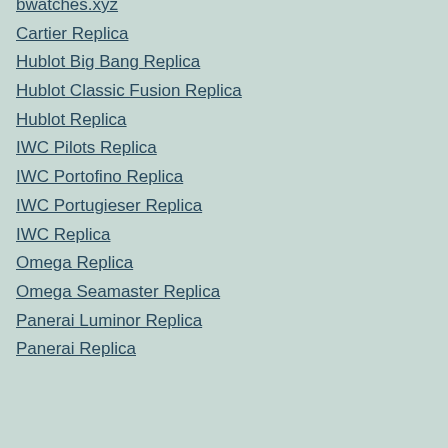bwatches.xyz
Cartier Replica
Hublot Big Bang Replica
Hublot Classic Fusion Replica
Hublot Replica
IWC Pilots Replica
IWC Portofino Replica
IWC Portugieser Replica
IWC Replica
Omega Replica
Omega Seamaster Replica
Panerai Luminor Replica
Panerai Replica